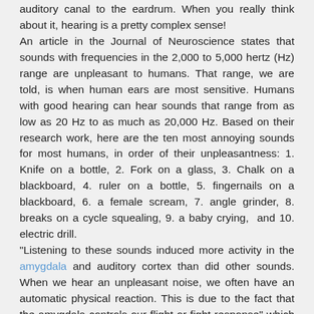auditory canal to the eardrum. When you really think about it, hearing is a pretty complex sense! An article in the Journal of Neuroscience states that sounds with frequencies in the 2,000 to 5,000 hertz (Hz) range are unpleasant to humans. That range, we are told, is when human ears are most sensitive. Humans with good hearing can hear sounds that range from as low as 20 Hz to as much as 20,000 Hz. Based on their research work, here are the ten most annoying sounds for most humans, in order of their unpleasantness: 1. Knife on a bottle, 2. Fork on a glass, 3. Chalk on a blackboard, 4. ruler on a bottle, 5. fingernails on a blackboard, 6. a female scream, 7. angle grinder, 8. breaks on a cycle squealing, 9. a baby crying, and 10. electric drill. "Listening to these sounds induced more activity in the amygdala and auditory cortex than did other sounds. When we hear an unpleasant noise, we often have an automatic physical reaction. This is due to the fact that the amygdala controls our flight or fight response" which means that when humans hear these sounds, the brain sends signals to prepare